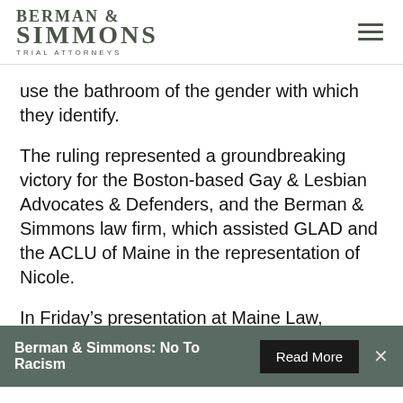Berman & Simmons Trial Attorneys
use the bathroom of the gender with which they identify.
The ruling represented a groundbreaking victory for the Boston-based Gay & Lesbian Advocates & Defenders, and the Berman & Simmons law firm, which assisted GLAD and the ACLU of Maine in the representation of Nicole.
In Friday’s presentation at Maine Law, Nofsinger, Nicole, and Wayne Maines will reflect on Nicole’s journey, the legal battles, and the momentum achieved through victory.
Berman & Simmons: No To Racism  Read More